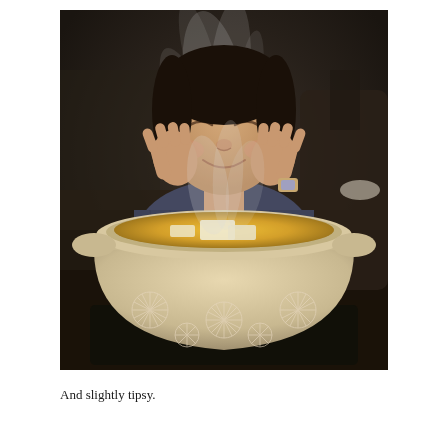[Figure (photo): A person with eyes closed and hands on cheeks, smiling contentedly at a steaming ceramic Japanese hot pot (donabe) containing tofu in golden broth, sitting on a dark table in a restaurant setting. Steam rises visibly above the pot.]
And slightly tipsy.